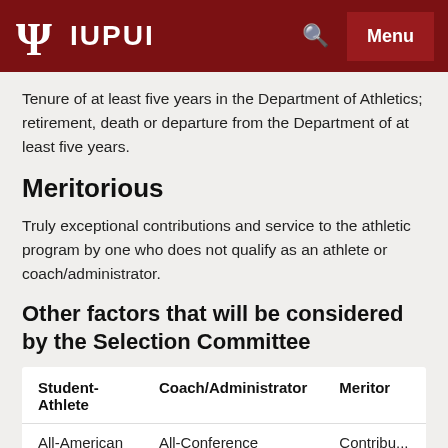IUPUI
Tenure of at least five years in the Department of Athletics; retirement, death or departure from the Department of at least five years.
Meritorious
Truly exceptional contributions and service to the athletic program by one who does not qualify as an athlete or coach/administrator.
Other factors that will be considered by the Selection Committee
| Student-Athlete | Coach/Administrator | Meritor... |
| --- | --- | --- |
| All-American recognition | All-Conference recognition (team | Contribu... to the |